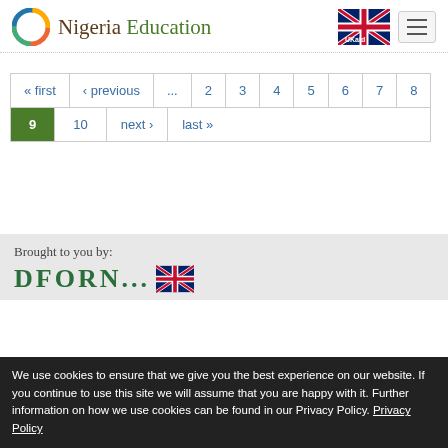Nigeria Education — UKaid
« first
‹ previous
...
2
3
4
5
6
7
8
9
10
next ›
last »
Brought to you by:
We use cookies to ensure that we give you the best experience on our website. If you continue to use this site we will assume that you are happy with it. Further information on how we use cookies can be found in our Privacy Policy. Privacy Policy